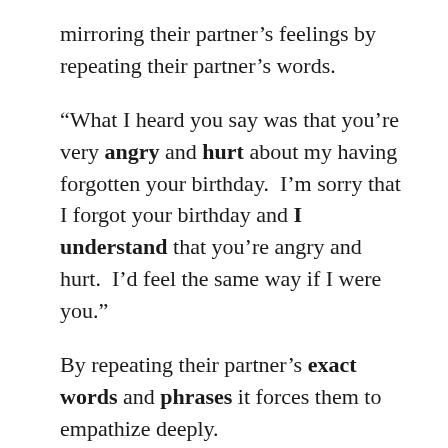mirroring their partner's feelings by repeating their partner's words.
“What I heard you say was that you’re very angry and hurt about my having forgotten your birthday.  I’m sorry that I forgot your birthday and I understand that you’re angry and hurt.  I’d feel the same way if I were you.”
By repeating their partner’s exact words and phrases it forces them to empathize deeply.
Honoring each other’s feelings reinforces mutual trust and respect and builds deep understanding.